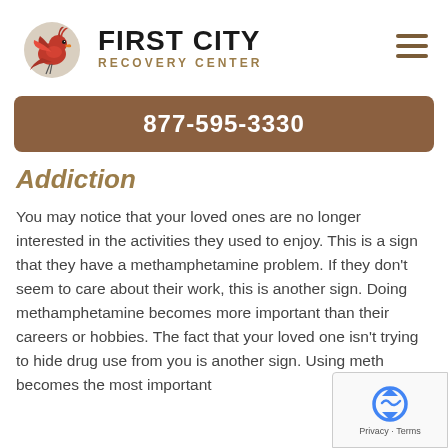FIRST CITY RECOVERY CENTER
877-595-3330
Addiction
You may notice that your loved ones are no longer interested in the activities they used to enjoy. This is a sign that they have a methamphetamine problem. If they don't seem to care about their work, this is another sign. Doing methamphetamine becomes more important than their careers or hobbies. The fact that your loved one isn't trying to hide drug use from you is another sign. Using meth becomes the most important
[Figure (logo): reCAPTCHA widget with Privacy and Terms text]